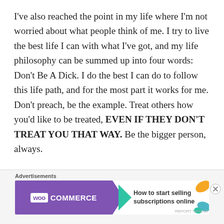I've also reached the point in my life where I'm not worried about what people think of me. I try to live the best life I can with what I've got, and my life philosophy can be summed up into four words: Don't Be A Dick. I do the best I can do to follow this life path, and for the most part it works for me. Don't preach, be the example. Treat others how you'd like to be treated, EVEN IF THEY DON'T TREAT YOU THAT WAY. Be the bigger person, always.
So no, this isn't the 6th anniversary of my 29th birthday, because that's bullshit.
[Figure (other): WooCommerce advertisement banner with purple logo on left, teal arrow decoration, and text 'How to start selling subscriptions online' on white right side with orange/blue leaf decorations]